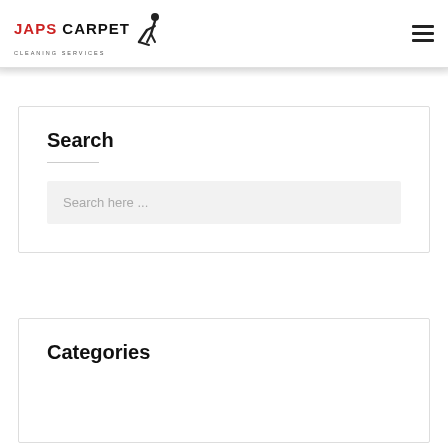[Figure (logo): JAPS CARPET Cleaning Services logo with silhouette of a person using a carpet cleaning machine]
[Figure (other): Hamburger/menu icon with three horizontal lines]
Search
Search here ...
Categories